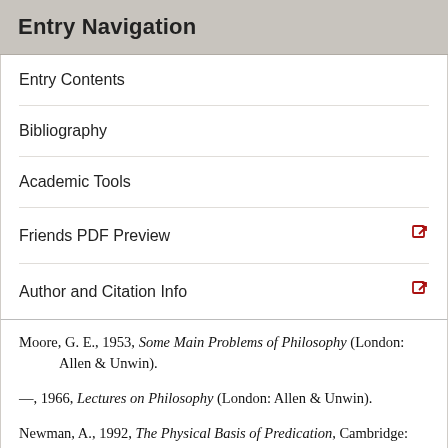Entry Navigation
Entry Contents
Bibliography
Academic Tools
Friends PDF Preview
Author and Citation Info
Moore, G. E., 1953, Some Main Problems of Philosophy (London: Allen & Unwin).
–––, 1966, Lectures on Philosophy (London: Allen & Unwin).
Newman, A., 1992, The Physical Basis of Predication, Cambridge: Cambridge University Press.
–––, 2002, The Correspondence Theory of Truth: An Essay on the Metaphysics of Predication, Cambridge: Cambridge University Press.
Noonan, H., 2009, “Perdurance, Location and Classical